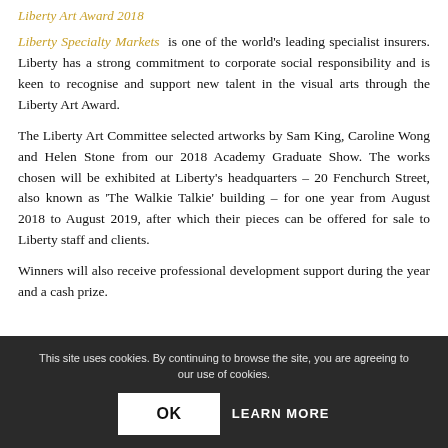Liberty Art Award 2018
Liberty Specialty Markets is one of the world's leading specialist insurers. Liberty has a strong commitment to corporate social responsibility and is keen to recognise and support new talent in the visual arts through the Liberty Art Award.
The Liberty Art Committee selected artworks by Sam King, Caroline Wong and Helen Stone from our 2018 Academy Graduate Show. The works chosen will be exhibited at Liberty's headquarters – 20 Fenchurch Street, also known as 'The Walkie Talkie' building – for one year from August 2018 to August 2019, after which their pieces can be offered for sale to Liberty staff and clients.
Winners will also receive professional development support during the year and a cash prize.
10/07/2018  A WINNER
This site uses cookies. By continuing to browse the site, you are agreeing to our use of cookies.